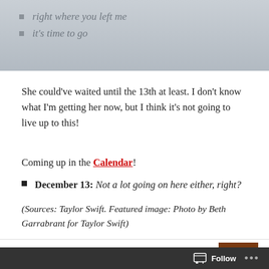right where you left me
it's time to go
She could've waited until the 13th at least. I don't know what I'm getting her now, but I think it's not going to live up to this!
Coming up in the Calendar!
December 13: Not a lot going on here either, right?
(Sources: Taylor Swift. Featured image: Photo by Beth Garrabrant for Taylor Swift)
PUBLISHED BY
A. Leon
[Figure (photo): Author thumbnail photo with warm orange/red tones]
Follow ...